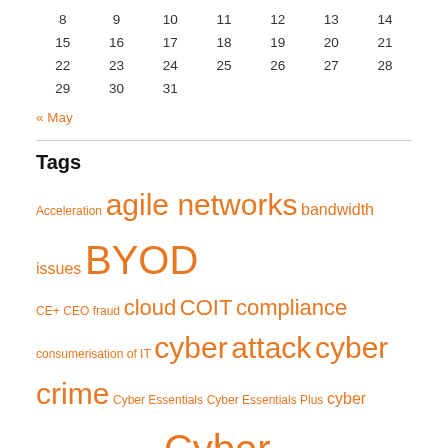| 8 | 9 | 10 | 11 | 12 | 13 | 14 |
| 15 | 16 | 17 | 18 | 19 | 20 | 21 |
| 22 | 23 | 24 | 25 | 26 | 27 | 28 |
| 29 | 30 | 31 |  |  |  |  |
« May
Tags
Acceleration agile networks bandwidth issues BYOD CE+ CEO fraud cloud COIT compliance consumerisation of IT cyber attack cyber crime Cyber Essentials Cyber Essentials Plus cyber readiness cyber risk Cyber security cyber security insurance cyber security predictions cyber threats data breach data centre Data Protection educating staff on phishing dangers endpoint